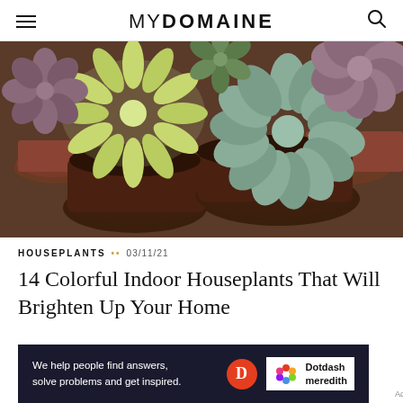MYDOMAINE
[Figure (photo): Overhead view of multiple succulent houseplants in terracotta and dark brown pots on a wooden surface, featuring rosette-shaped and spiky green succulents.]
HOUSEPLANTS •• 03/11/21
14 Colorful Indoor Houseplants That Will Brighten Up Your Home
[Figure (other): Dotdash Meredith advertisement banner: 'We help people find answers, solve problems and get inspired.' with Dotdash Meredith logo.]